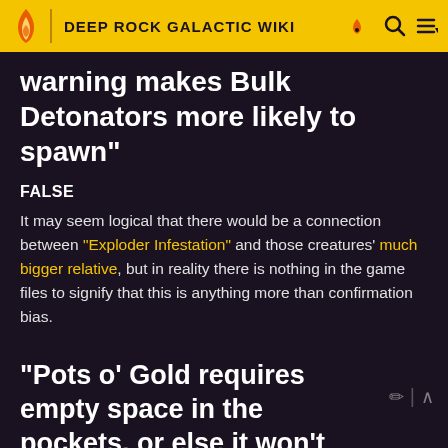DEEP ROCK GALACTIC WIKI
warning makes Bulk Detonators more likely to spawn"
FALSE
It may seem logical that there would be a connection between "Exploder Infestation" and those creatures' much bigger relative, but in reality there is nothing in the game files to signify that this is anything more than confirmation bias.
"Pots o' Gold requires empty space in the pockets, or else it won't trigger"